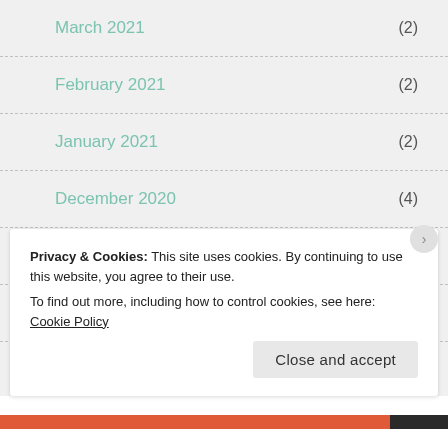March 2021 (2)
February 2021 (2)
January 2021 (2)
December 2020 (4)
November 2020 (4)
October 2020 (5)
September 2020 (3)
Privacy & Cookies: This site uses cookies. By continuing to use this website, you agree to their use.
To find out more, including how to control cookies, see here: Cookie Policy
Close and accept